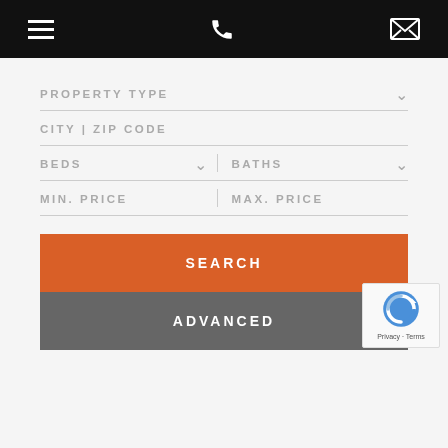Navigation bar with hamburger menu, phone icon, and mail icon
PROPERTY TYPE
CITY | ZIP CODE
BEDS
BATHS
MIN. PRICE
MAX. PRICE
SEARCH
ADVANCED